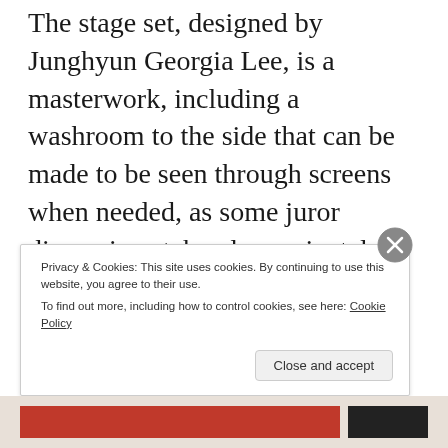The stage set, designed by Junghyun Georgia Lee, is a masterwork, including a washroom to the side that can be made to be seen through screens when needed, as some juror discussions take place privately. The custom-made long wooden jurors' table sits upon a turntable that slowly moves at times to aid our perspective of the deliberations. And at moments an actor might step away from the churning motion to demonstrate his seeking clarity.
Privacy & Cookies: This site uses cookies. By continuing to use this website, you agree to their use. To find out more, including how to control cookies, see here: Cookie Policy